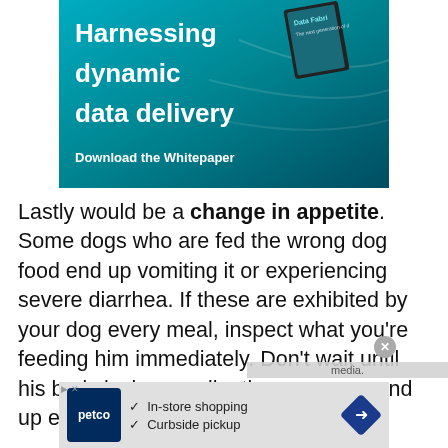[Figure (illustration): Advertisement banner with teal/dark teal gradient background showing bold white text 'Harnessing dynamic data delivery' and 'Download the Whitepaper', with a book graphic in upper right corner labeled 'Data Fabr...']
Lastly would be a change in appetite. Some dogs who are fed the wrong dog food end up vomiting it or experiencing severe diarrhea. If these are exhibited by your dog every meal, inspect what you're feeding him immediately. Don't wait until his body lacks coordination or worse, end up experiencing seizures.
[Figure (illustration): Petco advertisement banner at bottom showing Petco logo, checkmarks for 'In-store shopping' and 'Curbside pickup', and a blue diamond arrow icon]